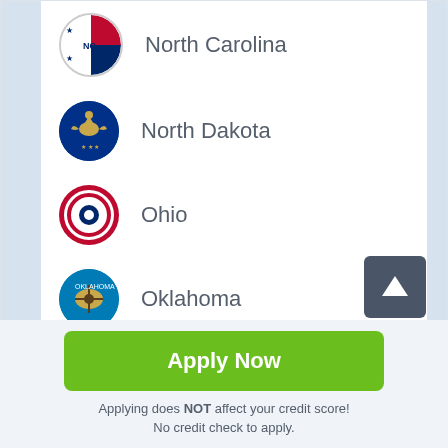North Carolina
North Dakota
Ohio
Oklahoma
Oregon
Pennsylvania
Apply Now
Applying does NOT affect your credit score! No credit check to apply.